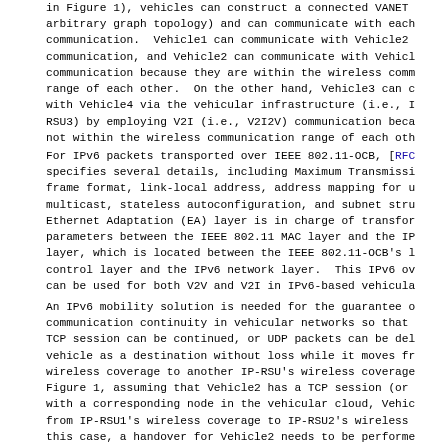in Figure 1), vehicles can construct a connected VANET (arbitrary graph topology) and can communicate with each communication.  Vehicle1 can communicate with Vehicle2 communication, and Vehicle2 can communicate with Vehicle communication because they are within the wireless comm range of each other.  On the other hand, Vehicle3 can c with Vehicle4 via the vehicular infrastructure (i.e., I RSU3) by employing V2I (i.e., V2I2V) communication beca not within the wireless communication range of each oth
For IPv6 packets transported over IEEE 802.11-OCB, [RFC specifies several details, including Maximum Transmissi frame format, link-local address, address mapping for u multicast, stateless autoconfiguration, and subnet stru Ethernet Adaptation (EA) layer is in charge of transfor parameters between the IEEE 802.11 MAC layer and the IP layer, which is located between the IEEE 802.11-OCB's l control layer and the IPv6 network layer.  This IPv6 ov can be used for both V2V and V2I in IPv6-based vehicula
An IPv6 mobility solution is needed for the guarantee o communication continuity in vehicular networks so that TCP session can be continued, or UDP packets can be del vehicle as a destination without loss while it moves fr wireless coverage to another IP-RSU's wireless coverage Figure 1, assuming that Vehicle2 has a TCP session (or with a corresponding node in the vehicular cloud, Vehic from IP-RSU1's wireless coverage to IP-RSU2's wireless this case, a handover for Vehicle2 needs to be performe host-based mobility management scheme (e.g., MIPv6 [RFC